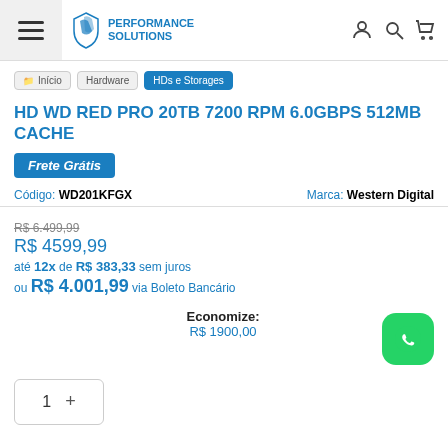Performance Solutions — navigation header
Início
Hardware
HDs e Storages
HD WD RED PRO 20TB 7200 RPM 6.0GBPS 512MB CACHE
Frete Grátis
Código: WD201KFGX   Marca: Western Digital
R$ 6.499,99
R$ 4599,99
até 12x de R$ 383,33 sem juros
ou R$ 4.001,99 via Boleto Bancário
Economize:
R$ 1900,00